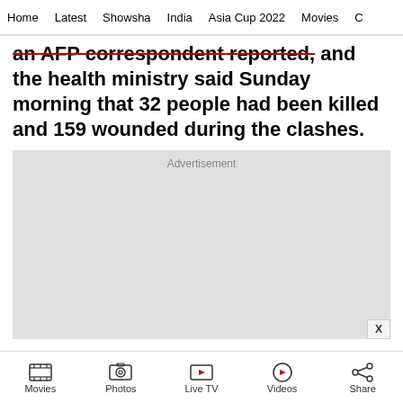Home | Latest | Showsha | India | Asia Cup 2022 | Movies | C...
an AFP correspondent reported, and the health ministry said Sunday morning that 32 people had been killed and 159 wounded during the clashes.
[Figure (other): Advertisement placeholder box (grey rectangle)]
Movies | Photos | Live TV | Videos | Share